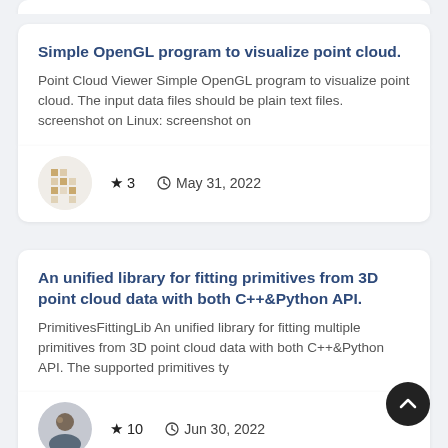Simple OpenGL program to visualize point cloud.
Point Cloud Viewer Simple OpenGL program to visualize point cloud. The input data files should be plain text files. screenshot on Linux: screenshot on
★ 3   May 31, 2022
An unified library for fitting primitives from 3D point cloud data with both C++&Python API.
PrimitivesFittingLib An unified library for fitting multiple primitives from 3D point cloud data with both C++&Python API. The supported primitives ty
★ 10   Jun 30, 2022